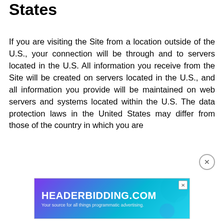States
If you are visiting the Site from a location outside of the U.S., your connection will be through and to servers located in the U.S. All information you receive from the Site will be created on servers located in the U.S., and all information you provide will be maintained on web servers and systems located within the U.S. The data protection laws in the United States may differ from those of the country in which you are
[Figure (other): Advertisement banner for HEADERBIDDING.COM with purple to cyan gradient background. Text reads 'HEADERBIDDING.COM' in bold white letters and 'Your source for all things programmatic advertising.' in smaller white text.]